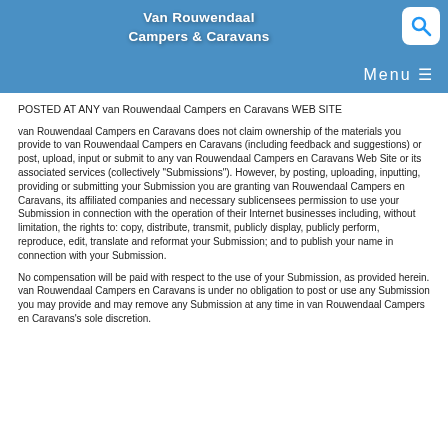Van Rouwendaal Campers & Caravans
POSTED AT ANY van Rouwendaal Campers en Caravans WEB SITE
van Rouwendaal Campers en Caravans does not claim ownership of the materials you provide to van Rouwendaal Campers en Caravans (including feedback and suggestions) or post, upload, input or submit to any van Rouwendaal Campers en Caravans Web Site or its associated services (collectively "Submissions"). However, by posting, uploading, inputting, providing or submitting your Submission you are granting van Rouwendaal Campers en Caravans, its affiliated companies and necessary sublicensees permission to use your Submission in connection with the operation of their Internet businesses including, without limitation, the rights to: copy, distribute, transmit, publicly display, publicly perform, reproduce, edit, translate and reformat your Submission; and to publish your name in connection with your Submission.
No compensation will be paid with respect to the use of your Submission, as provided herein. van Rouwendaal Campers en Caravans is under no obligation to post or use any Submission you may provide and may remove any Submission at any time in van Rouwendaal Campers en Caravans's sole discretion.